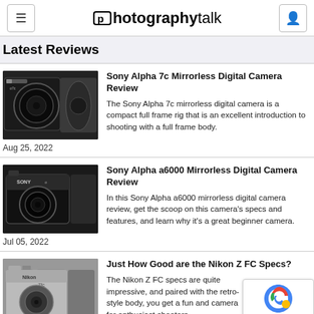photographytalk
Latest Reviews
[Figure (photo): Sony Alpha 7c mirrorless camera with lens, black body]
Sony Alpha 7c Mirrorless Digital Camera Review
The Sony Alpha 7c mirrorless digital camera is a compact full frame rig that is an excellent introduction to shooting with a full frame body.
Aug 25, 2022
[Figure (photo): Sony Alpha a6000 mirrorless camera, black body with lens]
Sony Alpha a6000 Mirrorless Digital Camera Review
In this Sony Alpha a6000 mirrorless digital camera review, get the scoop on this camera's specs and features, and learn why it's a great beginner camera.
Jul 05, 2022
[Figure (photo): Nikon Z FC retro-style mirrorless camera, silver and black body]
Just How Good are the Nikon Z FC Specs?
The Nikon Z FC specs are quite impressive, and paired with the retro-style body, you get a fun and camera for enthusiast shooters.
May 31, 2022